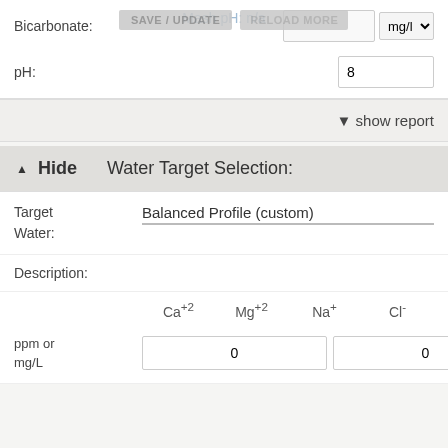Mash pH: n/a
Bicarbonate:
SAVE / UPDATE
RELOAD MORE
mg/l
pH:
8
▼ show report
▲ Hide    Water Target Selection:
Target Water:
Balanced Profile (custom)
Description:
Ca+2   Mg+2   Na+   Cl-
ppm or mg/L
0  0  0  0